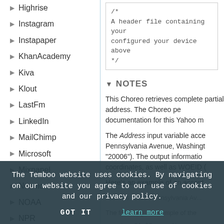Highrise
Instagram
Instapaper
KhanAcademy
Kiva
Klout
LastFm
LinkedIn
MailChimp
Microsoft
Mixpanel
Nexmo
NOAA
NPR
NYTimes
OneLogin
PagerDuty
Raygun
Runkeeper
Salesforce
SendGrid
Socrata
[Figure (screenshot): Code box showing: /* A header file containing your configured your device above */]
▼ NOTES
This Choreo retrieves complete partial address. The Choreo pe documentation for this Yahoo m
The Address input variable acce Pennsylvania Avenue, Washingt "20006"). The output informatio coordinates, as well as WOEID (
Here's an example of an accept
Address: 1600 Pennsylvania Av...
The following is a sample of the
[Figure (screenshot): Code snippet showing: version="1.0" encoding= <query xmlns:yahoo="http://..."]
The Temboo website uses cookies. By navigating on our website you agree to our use of cookies and our privacy policy.